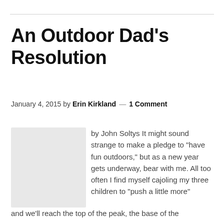An Outdoor Dad’s Resolution
January 4, 2015 by Erin Kirkland — 1 Comment
by John Soltys It might sound strange to make a pledge to "have fun outdoors," but as a new year gets underway, bear with me. All too often I find myself cajoling my three children to "push a little more" and we'll reach the top of the peak, the base of the